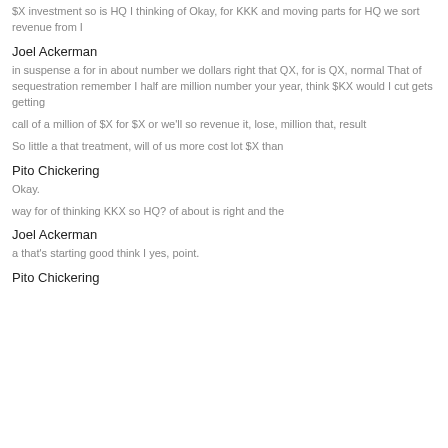$X investment so is HQ I thinking of Okay, for KKK and moving parts for HQ we sort revenue from I
Joel Ackerman
in suspense a for in about number we dollars right that QX, for is QX, normal That of sequestration remember I half are million number your year, think $KX would I cut gets getting
call of a million of $X for $X or we'll so revenue it, lose, million that, result
So little a that treatment, will of us more cost lot $X than
Pito Chickering
Okay.
way for of thinking KKX so HQ? of about is right and the
Joel Ackerman
a that's starting good think I yes, point.
Pito Chickering